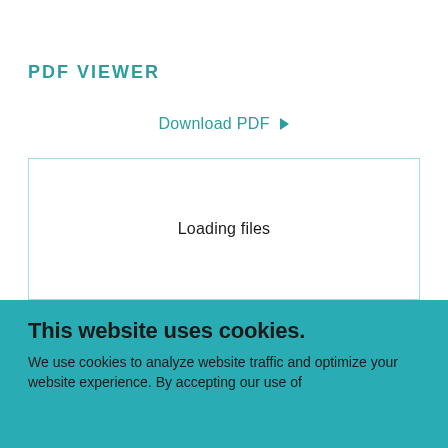PDF VIEWER
Download PDF ▶
[Figure (screenshot): PDF viewer iframe placeholder showing 'Loading files' text in the center, surrounded by a light blue border.]
Loading files
This website uses cookies.
We use cookies to analyze website traffic and optimize your website experience. By accepting our use of